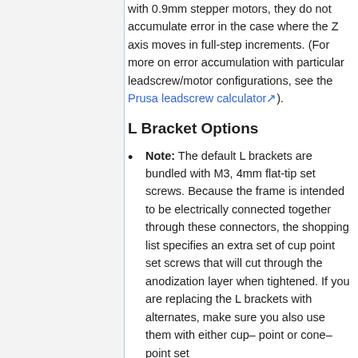with 0.9mm stepper motors, they do not accumulate error in the case where the Z axis moves in full-step increments. (For more on error accumulation with particular leadscrew/motor configurations, see the Prusa leadscrew calculator).
L Bracket Options
Note: The default L brackets are bundled with M3, 4mm flat-tip set screws. Because the frame is intended to be electrically connected together through these connectors, the shopping list specifies an extra set of cup point set screws that will cut through the anodization layer when tightened. If you are replacing the L brackets with alternates, make sure you also use them with either cup- point or cone- point set